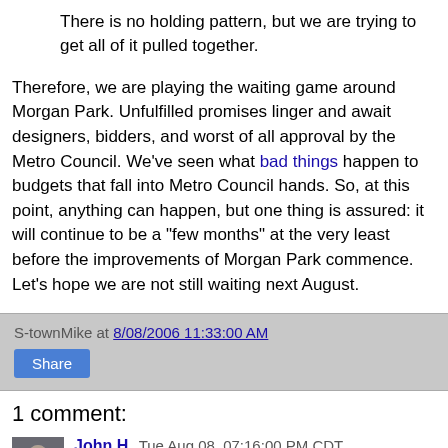There is no holding pattern, but we are trying to get all of it pulled together.
Therefore, we are playing the waiting game around Morgan Park. Unfulfilled promises linger and await designers, bidders, and worst of all approval by the Metro Council. We've seen what bad things happen to budgets that fall into Metro Council hands. So, at this point, anything can happen, but one thing is assured: it will continue to be a "few months" at the very least before the improvements of Morgan Park commence. Let's hope we are not still waiting next August.
S-townMike at 8/08/2006 11:33:00 AM
Share
1 comment:
John H Tue Aug 08, 07:16:00 PM CDT
Well, at least we have Ludye looking out for our interests...